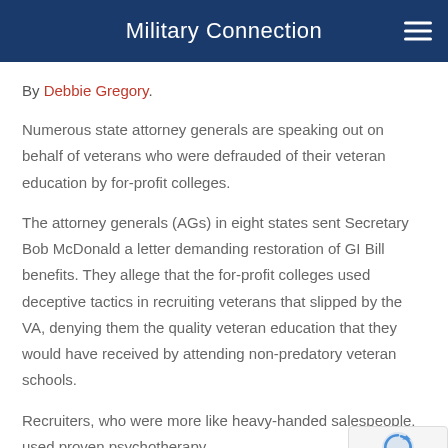Military Connection
By Debbie Gregory.
Numerous state attorney generals are speaking out on behalf of veterans who were defrauded of their veteran education by for-profit colleges.
The attorney generals (AGs) in eight states sent Secretary Bob McDonald a letter demanding restoration of GI Bill benefits. They allege that the for-profit colleges used deceptive tactics in recruiting veterans that slipped by the VA, denying them the quality veteran education that they would have received by attending non-predatory veteran schools.
Recruiters, who were more like heavy-handed salespeople, used proven psychotherapy…